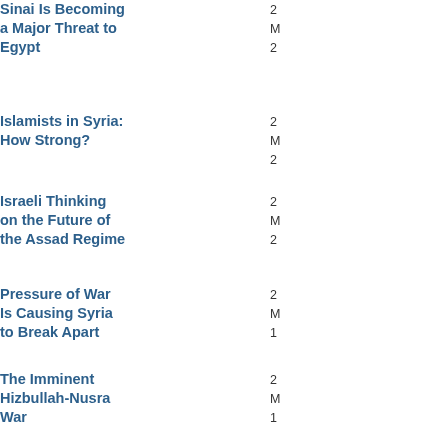Sinai Is Becoming a Major Threat to Egypt
Islamists in Syria: How Strong?
Israeli Thinking on the Future of the Assad Regime
Pressure of War Is Causing Syria to Break Apart
The Imminent Hizbullah-Nusra War
Sheikh Qaradawi's Visit to Gaza
Defending "Red Lines" and Defensible Borders